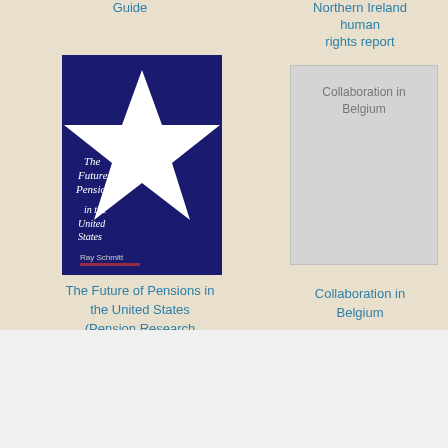Guide
Northern Ireland human rights report
[Figure (photo): Book cover: The Future of Pensions in the United States (Pension Research Council Publications) by Ray Schmitt, dark blue cover with white star]
[Figure (other): Placeholder image for Collaboration in Belgium with grey box and text]
The Future of Pensions in the United States (Pension Research Council Publications)
Collaboration in Belgium
The Era and the Constitution by Donald R. Haener Download PDF EPUB FB2